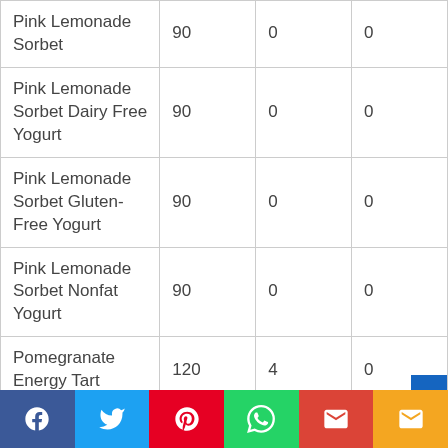| Pink Lemonade Sorbet | 90 | 0 | 0 |
| Pink Lemonade Sorbet Dairy Free Yogurt | 90 | 0 | 0 |
| Pink Lemonade Sorbet Gluten-Free Yogurt | 90 | 0 | 0 |
| Pink Lemonade Sorbet Nonfat Yogurt | 90 | 0 | 0 |
| Pomegranate Energy Tart | 120 | 4 | 0 |